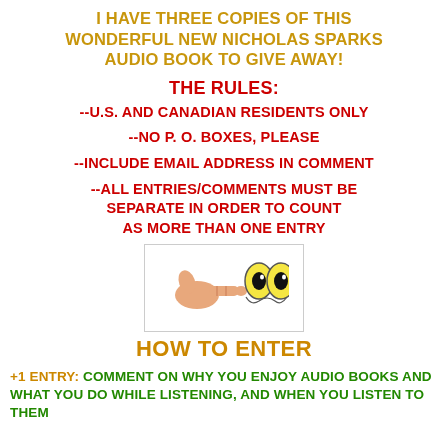I HAVE THREE COPIES OF THIS WONDERFUL NEW NICHOLAS SPARKS AUDIO BOOK TO GIVE AWAY!
THE RULES:
--U.S. AND CANADIAN RESIDENTS ONLY
--NO P. O. BOXES, PLEASE
--INCLUDE EMAIL ADDRESS IN COMMENT
--ALL ENTRIES/COMMENTS MUST BE SEPARATE IN ORDER TO COUNT AS MORE THAN ONE ENTRY
[Figure (illustration): Cartoon emoji image of a hand pointing and googly eyes, shown inside a light bordered box]
HOW TO ENTER
+1 ENTRY: COMMENT ON WHY YOU ENJOY AUDIO BOOKS AND WHAT YOU DO WHILE LISTENING, AND WHEN YOU LISTEN TO THEM